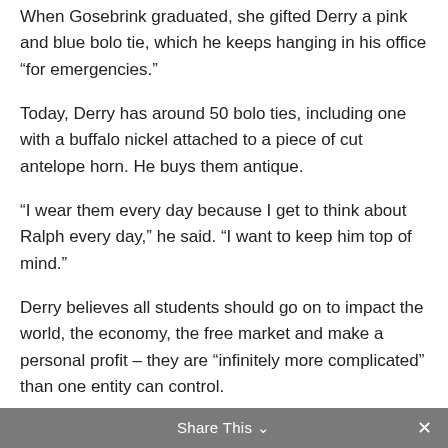When Gosebrink graduated, she gifted Derry a pink and blue bolo tie, which he keeps hanging in his office “for emergencies.”
Today, Derry has around 50 bolo ties, including one with a buffalo nickel attached to a piece of cut antelope horn. He buys them antique.
“I wear them every day because I get to think about Ralph every day,” he said. “I want to keep him top of mind.”
Derry believes all students should go on to impact the world, the economy, the free market and make a personal profit – they are “infinitely more complicated” than one entity can control.
Share This ⌄  ✕